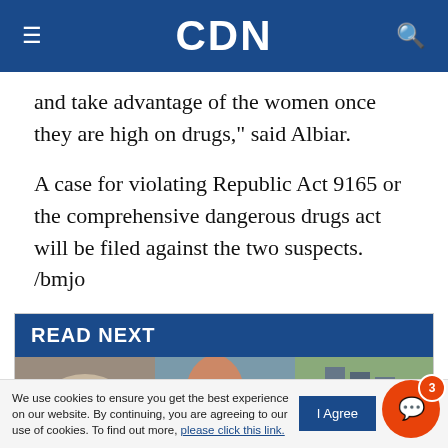CDN
and take advantage of the women once they are high on drugs," said Albiar.
A case for violating Republic Act 9165 or the comprehensive dangerous drugs act will be filed against the two suspects. /bmjo
READ NEXT
[Figure (photo): News photo showing people on a street scene]
We use cookies to ensure you get the best experience on our website. By continuing, you are agreeing to our use of cookies. To find out more, please click this link.